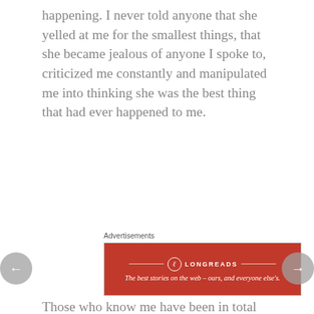happening. I never told anyone that she yelled at me for the smallest things, that she became jealous of anyone I spoke to, criticized me constantly and manipulated me into thinking she was the best thing that had ever happened to me.
Advertisements
[Figure (other): Longreads advertisement banner. Red background with white logo circle containing 'L', brand name 'LONGREADS' in white caps, and tagline 'The best stories on the web – ours, and everyone else's.' in white italic text.]
Those who know me have been in total disbelief that I would allow such people in my life for as long as I
Privacy & Cookies: This site uses cookies. By continuing to use this website, you agree to their use. To find out more, including how to control cookies, see here: Cookie Policy
Close and accept
I was taught to learn that love would always hurt